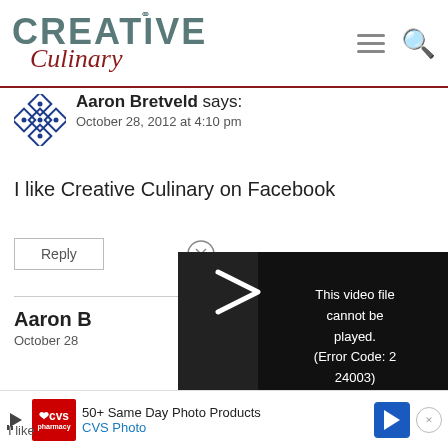Creative Culinary
Aaron Bretveld says:
October 28, 2012 at 4:10 pm
I like Creative Culinary on Facebook
Reply
[Figure (screenshot): Video player error overlay showing 'This video file cannot be played. (Error Code: 2 24003)']
Aaron B
October 28
50+ Same Day Photo Products
CVS Photo